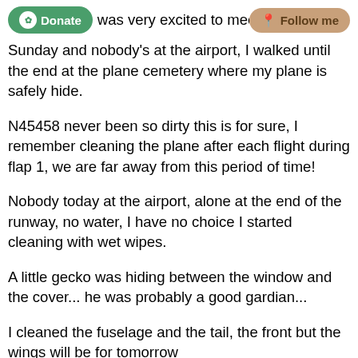T... was very excited to mee... Sunday and nobody's at the airport, I walked until the end at the plane cemetery where my plane is safely hide.
N45458 never been so dirty this is for sure, I remember cleaning the plane after each flight during flap 1, we are far away from this period of time!
Nobody today at the airport, alone at the end of the runway, no water, I have no choice I started cleaning with wet wipes.
A little gecko was hiding between the window and the cover... he was probably a good gardian...
I cleaned the fuselage and the tail, the front but the wings will be for tomorrow